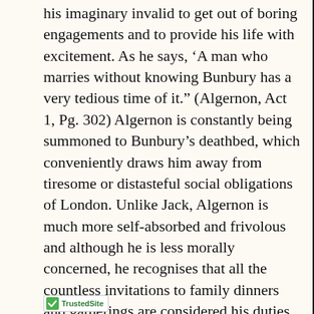his imaginary invalid to get out of boring engagements and to provide his life with excitement. As he says, ‘A man who marries without knowing Bunbury has a very tedious time of it.” (Algernon, Act 1, Pg. 302) Algernon is constantly being summoned to Bunbury’s deathbed, which conveniently draws him away from tiresome or distasteful social obligations of London. Unlike Jack, Algernon is much more self-absorbed and frivolous and although he is less morally concerned, he recognises that all the countless invitations to family dinners and gatherings are considered his duties.
Algernon’s snobbish and materialistic aunt, Lady Bracknell, is a tool of conflict and much of the satire is aimed at her. Lady Bracknell herself as a stereotypical upper-class
[Figure (logo): TrustedSite logo with green checkmark badge]